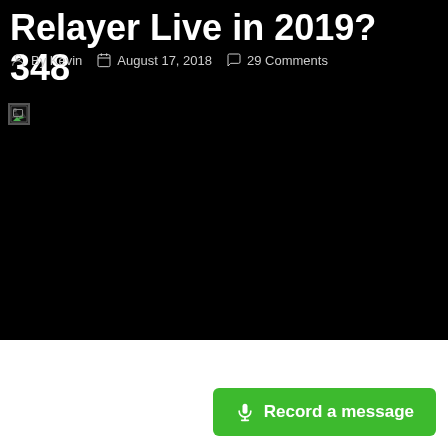Relayer Live in 2019? 348
By Kevin   August 17, 2018   29 Comments
[Figure (photo): Large black image area with a broken image indicator in the top-left corner]
Record a message